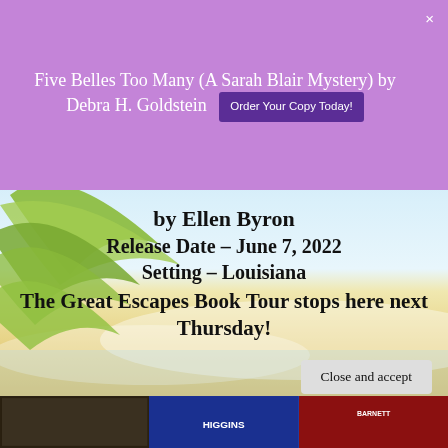Five Belles Too Many (A Sarah Blair Mystery) by Debra H. Goldstein   Order Your Copy Today!
[Figure (illustration): Tropical beach scene background with palm leaves on the left, blue sky and ocean in the middle, sandy beach at the bottom]
by Ellen Byron
Release Date – June 7, 2022
Setting – Louisiana
The Great Escapes Book Tour stops here next Thursday!
[Figure (logo): + Add to goodreads button/badge]
Privacy & Cookies: This site uses cookies. By continuing to use this website, you agree to their use. To find out more, including how to control cookies, see here: Cookie Policy
Close and accept
[Figure (photo): Row of book cover thumbnails at the bottom of the page including books by Higgins and Barnett]